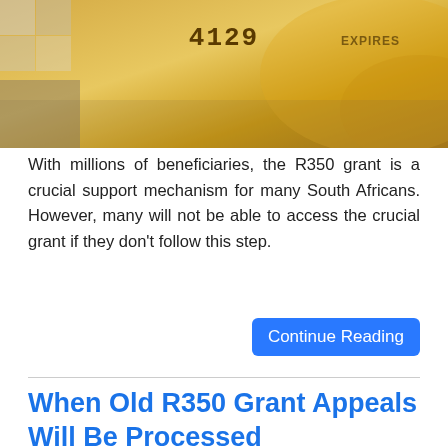[Figure (photo): Close-up photo of a yellow/gold SASSA card showing partial card number 4129 and EXPIRES label]
With millions of beneficiaries, the R350 grant is a crucial support mechanism for many South Africans. However, many will not be able to access the crucial grant if they don't follow this step.
Continue Reading
When Old R350 Grant Appeals Will Be Processed
[Figure (screenshot): Advertisement banner: 'Register Now for Information' from careersportal, with SASSA logo visible on the right side]